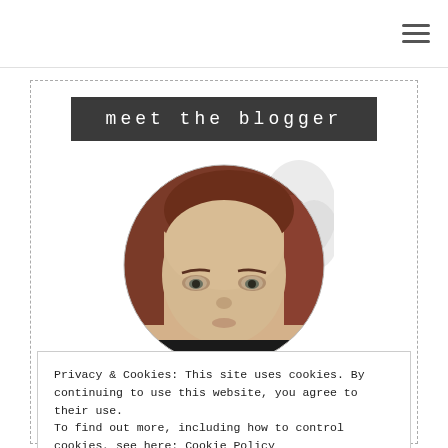≡ (hamburger menu icon)
meet the blogger
[Figure (photo): Circular cropped portrait photo of a blogger with reddish-brown hair, looking upward, with a floral/decorative background behind the circle]
Privacy & Cookies: This site uses cookies. By continuing to use this website, you agree to their use.
To find out more, including how to control cookies, see here: Cookie Policy
Close and accept